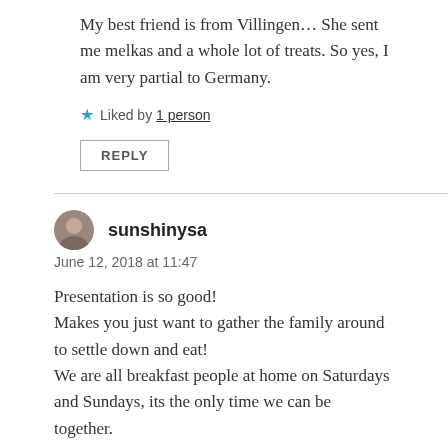My best friend is from Villingen… She sent me melkas and a whole lot of treats. So yes, I am very partial to Germany.
★ Liked by 1 person
REPLY
sunshinysa
June 12, 2018 at 11:47
Presentation is so good!
Makes you just want to gather the family around to settle down and eat!
We are all breakfast people at home on Saturdays and Sundays, its the only time we can be together.
Warm regards from
Kavita in Sunshiny South Africa